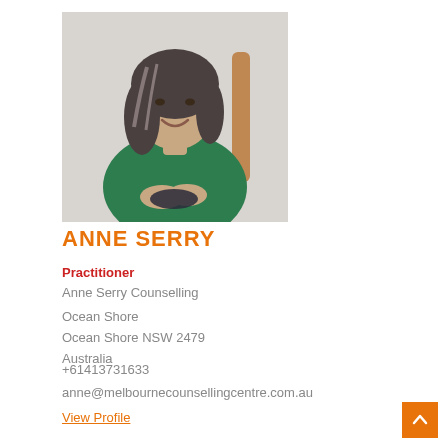[Figure (photo): Professional headshot of Anne Serry, a woman with grey-streaked dark hair, wearing a green top, seated and smiling, with arms folded in her lap.]
ANNE SERRY
Practitioner
Anne Serry Counselling
Ocean Shore
Ocean Shore NSW 2479
Australia
+61413731633
anne@melbournecounsellingcentre.com.au
View Profile